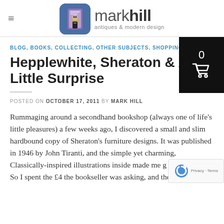mark hill antiques & modern design
BLOG, BOOKS, COLLECTING, OTHER SUBJECTS, SHOPPING
Hepplewhite, Sheraton & A Little Surprise
POSTED ON OCTOBER 17, 2011 BY MARK HILL
Rummaging around a secondhand bookshop (always one of life's little pleasures) a few weeks ago, I discovered a small and slim hardbound copy of Sheraton's furniture designs. It was published in 1946 by John Tiranti, and the simple yet charming, Classically-inspired illustrations inside made me g... So I spent the £4 the bookseller was asking, and then